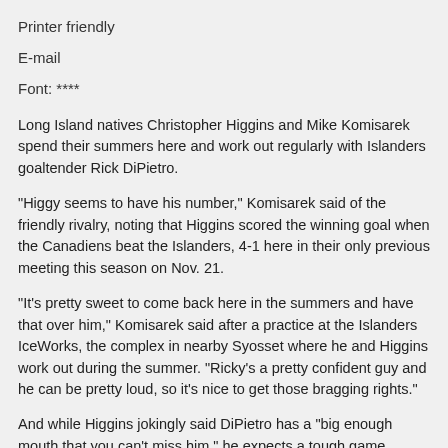Printer friendly
E-mail
Font: ****
Long Island natives Christopher Higgins and Mike Komisarek spend their summers here and work out regularly with Islanders goaltender Rick DiPietro.
"Higgy seems to have his number," Komisarek said of the friendly rivalry, noting that Higgins scored the winning goal when the Canadiens beat the Islanders, 4-1 here in their only previous meeting this season on Nov. 21.
"It's pretty sweet to come back here in the summers and have that over him," Komisarek said after a practice at the Islanders IceWorks, the complex in nearby Syosset where he and Higgins work out during the summer. "Ricky's a pretty confident guy and he can be pretty loud, so it's nice to get those bragging rights."
And while Higgins jokingly said DiPietro has a "big enough mouth that you can't miss him," he expects a tough game against the surging Isles, who are coming off a 3-1 win Sunday in Ottawa.